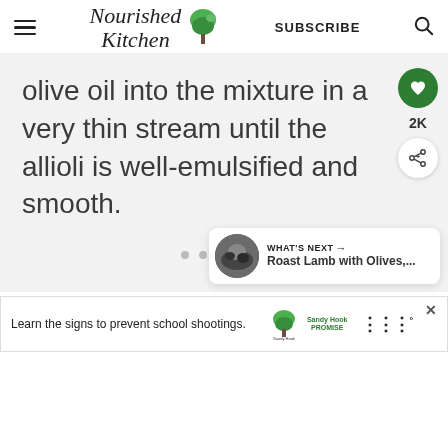Nourished Kitchen | SUBSCRIBE
olive oil into the mixture in a very thin stream until the allioli is well-emulsified and smooth.
[Figure (infographic): Floating action buttons: green heart/like button with 2K count, and white share button with arrow/plus icon]
[Figure (infographic): What's Next banner showing Roast Lamb with Olives article preview with thumbnail image]
[Figure (infographic): Advertisement banner: 'Learn the signs to prevent school shootings.' Sandy Hook Promise logo, close button, and WW logo]